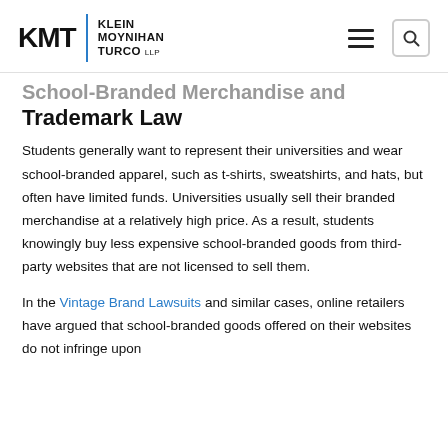KMT | KLEIN MOYNIHAN TURCO LLP
School-Branded Merchandise and Trademark Law
Students generally want to represent their universities and wear school-branded apparel, such as t-shirts, sweatshirts, and hats, but often have limited funds. Universities usually sell their branded merchandise at a relatively high price. As a result, students knowingly buy less expensive school-branded goods from third-party websites that are not licensed to sell them.
In the Vintage Brand Lawsuits and similar cases, online retailers have argued that school-branded goods offered on their websites do not infringe upon